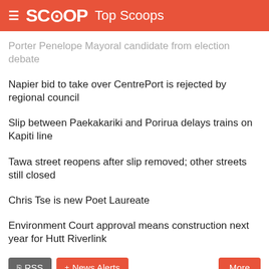SCOOP Top Scoops
Porter Penelope Mayoral candidate from election debate
Napier bid to take over CentrePort is rejected by regional council
Slip between Paekakariki and Porirua delays trains on Kapiti line
Tawa street reopens after slip removed; other streets still closed
Chris Tse is new Poet Laureate
Environment Court approval means construction next year for Hutt Riverlink
COMMENT SECTION
Black Box Voting
Buzz Flash
The Brad Blog
Democracy Now